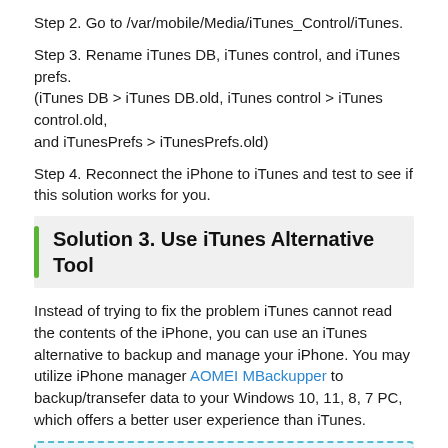Step 2. Go to /var/mobile/Media/iTunes_Control/iTunes.
Step 3. Rename iTunes DB, iTunes control, and iTunes prefs. (iTunes DB > iTunes DB.old, iTunes control > iTunes control.old, and iTunesPrefs > iTunesPrefs.old)
Step 4. Reconnect the iPhone to iTunes and test to see if this solution works for you.
Solution 3. Use iTunes Alternative Tool
Instead of trying to fix the problem iTunes cannot read the contents of the iPhone, you can use an iTunes alternative to backup and manage your iPhone. You may utilize iPhone manager AOMEI MBackupper to backup/transefer data to your Windows 10, 11, 8, 7 PC, which offers a better user experience than iTunes.
AOMEI MBackupper owns many advantages and features to meet different needs, including:
Fast backup: You can successfully create a backup on